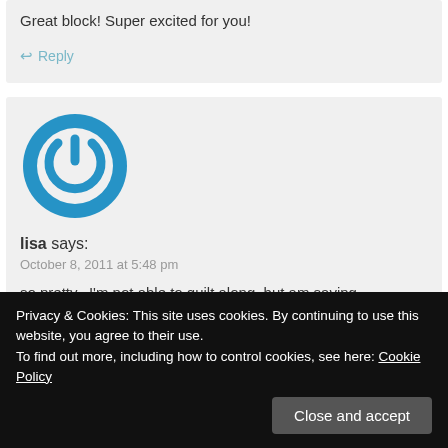Great block! Super excited for you!
↩ Reply
[Figure (logo): Blue circular power button icon — avatar for user lisa]
lisa says:
October 8, 2011 at 5:48 pm
so pretty...I'm not able to quilt along, but am saving
Privacy & Cookies: This site uses cookies. By continuing to use this website, you agree to their use.
To find out more, including how to control cookies, see here: Cookie Policy
Close and accept